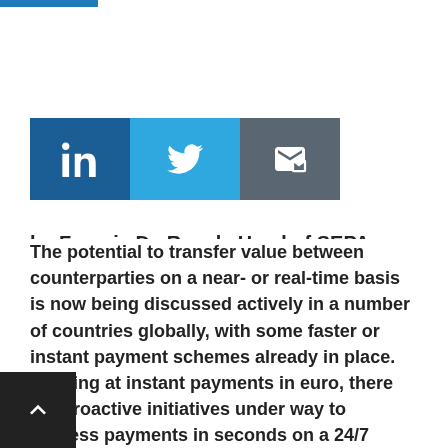[Figure (other): Dark blue horizontal bar at top of page]
[Figure (other): Social sharing buttons: LinkedIn (dark blue), Twitter (light blue), Email (grey)]
by Francis De Roeck, Head of SEPA offering, BNP Paribas
The potential to transfer value between counterparties on a near- or real-time basis is now being discussed actively in a number of countries globally, with some faster or instant payment schemes already in place. Looking at instant payments in euro, there are proactive initiatives under way to process payments in seconds on a 24/7